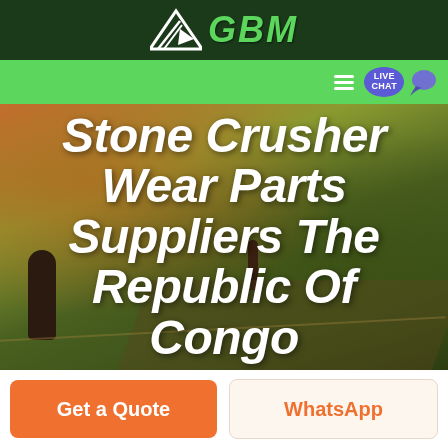GBM
Stone Crusher Wear Parts Suppliers The Republic Of Congo
Get a Quote
WhatsApp